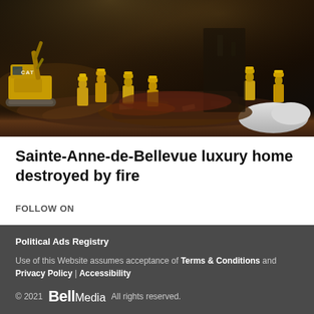[Figure (photo): Nighttime scene of firefighters in yellow gear working at a fire/demolition site with a CAT excavator on the left, debris and snow in the background]
Sainte-Anne-de-Bellevue luxury home destroyed by fire
FOLLOW ON
[Figure (illustration): Social media icons: Facebook, Twitter, Instagram]
Political Ads Registry
Use of this Website assumes acceptance of Terms & Conditions and Privacy Policy | Accessibility
© 2021  Bell Media  All rights reserved.